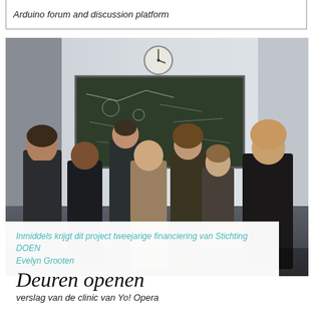Arduino forum and discussion platform
[Figure (photo): Group photo of approximately 8 people standing in front of a chalkboard with a clock on the wall above. White overlay box at bottom contains article metadata.]
Inmiddels krijgt dit project tweejarige financiering van Stichting DOEN
Evelyn Grooten
Deuren openen
verslag van de clinic van Yo! Opera
[Figure (photo): Light gray rectangular block, partially visible at bottom of page.]